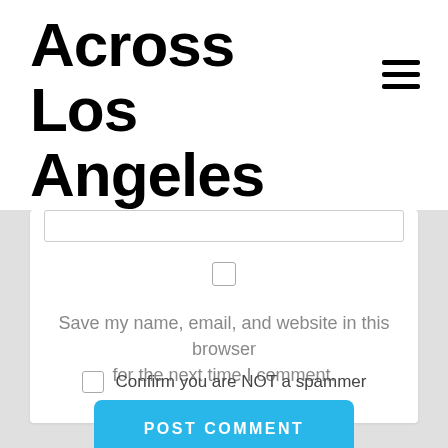Across Los Angeles
[Figure (other): Hamburger menu icon (three horizontal lines)]
[Figure (other): Web form card with input field, checkbox, save-me text, POST COMMENT button, and spam confirmation checkbox]
Save my name, email, and website in this browser for the next time I comment.
POST COMMENT
Confirm you are NOT a spammer